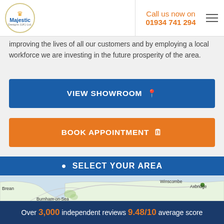[Figure (logo): Majestic Designs (UK) Ltd logo with crown icon in a circle]
Call us now on 01934 741 294
improving the lives of all our customers and by employing a local workforce we are investing in the future prosperity of the area.
VIEW SHOWROOM
BOOK APPOINTMENT
SELECT YOUR AREA
[Figure (map): Map showing area including Brean, Winscombe, Axbridge, Mendip Hills AONB, Burnham-on-Sea, Paulton, Midsomer Norton]
Over 3,000 independent reviews 9.48/10 average score